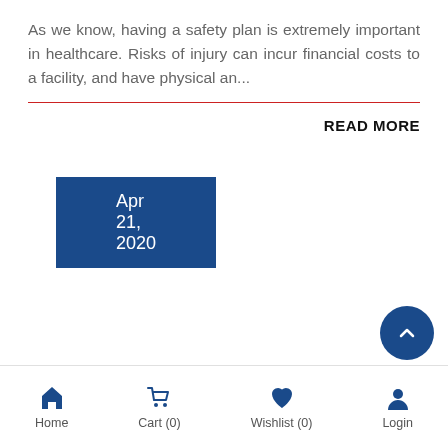As we know, having a safety plan is extremely important in healthcare. Risks of injury can incur financial costs to a facility, and have physical an...
READ MORE
Apr 21, 2020
Home  Cart (0)  Wishlist (0)  Login